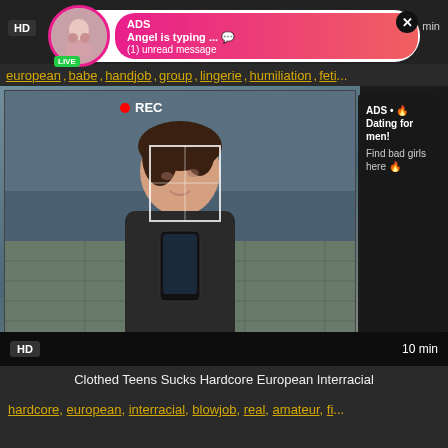[Figure (screenshot): Adult content website screenshot showing notification popup with 'ADS Angel is typing... (1) unread message', LIVE badge, and video player with recording indicator and ad overlay text 'ADS • Dating for men! Find bad girls here']
ADS
Angel is typing ... 💬
(1) unread message
european, babe, handjob, group, lingerie, humiliation, feti...
REC
ADS • 🔥 Dating for men! Find bad girls here 🔥
HD
10 min
Clothed Teens Sucks Hardcore European Interracial
hardcore, european, interracial, blowjob, real, amateur, fi...